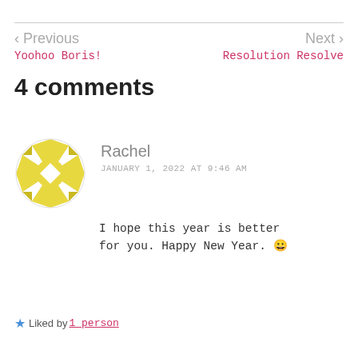< Previous   Next >
Yoohoo Boris!
Resolution Resolve
4 comments
[Figure (illustration): Circular avatar icon with a gold/yellow geometric quilt-like pattern made of triangles and star shapes on a white background]
Rachel
JANUARY 1, 2022 AT 9:46 AM
I hope this year is better for you. Happy New Year. 😀
★ Liked by 1 person